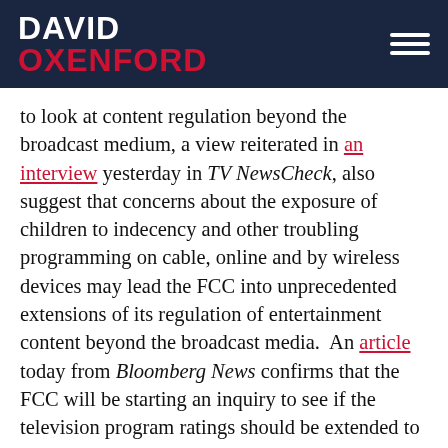DAVID OXENFORD
to look at content regulation beyond the broadcast medium, a view reiterated in an interview yesterday in TV NewsCheck, also suggest that concerns about the exposure of children to indecency and other troubling programming on cable, online and by wireless devices may lead the FCC into unprecedented extensions of its regulation of entertainment content beyond the broadcast media. An article today from Bloomberg News confirms that the FCC will be starting an inquiry to see if the television program ratings should be extended to cable and wireless entertainment services. This extension of Federal regulation to protect children is occurring at the